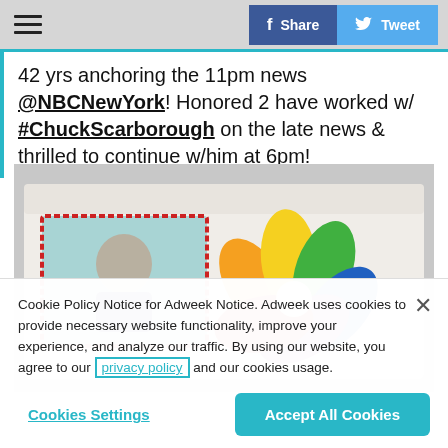≡  [hamburger menu]  |  Share  Tweet
42 yrs anchoring the 11pm news @NBCNewYork! Honored 2 have worked w/ #ChuckScarborough on the late news & thrilled to continue w/him at 6pm!
[Figure (photo): A decorated sheet cake featuring a photo of a man (Chuck Scarborough) on the left side and the NBC peacock logo rendered in frosting on the right side.]
Cookie Policy Notice for Adweek Notice. Adweek uses cookies to provide necessary website functionality, improve your experience, and analyze our traffic. By using our website, you agree to our privacy policy and our cookies usage.
Cookies Settings  |  Accept All Cookies